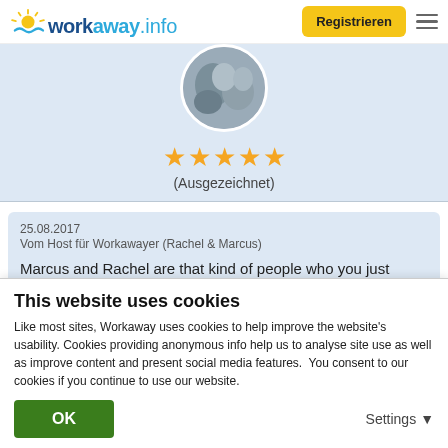[Figure (logo): Workaway.info logo with sun graphic, dark blue 'workaway' text and light blue '.info' text]
Registrieren
[Figure (photo): Circular profile photo showing rocky outdoor scene]
★★★★★
(Ausgezeichnet)
25.08.2017
Vom Host für Workawayer (Rachel & Marcus)
Marcus and Rachel are that kind of people who you just
This website uses cookies
Like most sites, Workaway uses cookies to help improve the website's usability. Cookies providing anonymous info help us to analyse site use as well as improve content and present social media features.  You consent to our cookies if you continue to use our website.
OK
Settings